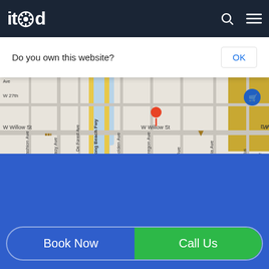itod [logo] — header navigation bar with search and menu icons
Do you own this website?
OK
[Figure (screenshot): Google Maps screenshot showing Long Beach area streets including W Willow St, Long Beach Fwy, Golden Ave, Maine Ave, Magnolia Ave, Eucalyptus, Pine Ave, W Burnett St, W 23rd St, Easy Ave, Fashion Ave, De Forest Ave, Oregon Ave, Daisy Ave. Shows 'For development purposes only' watermarks. An orange location pin is visible. Zoom controls (+/-) visible on right side. Map data ©2022 attribution at bottom.]
Keyboard shortcuts | Map data ©2022 | Terms of Use
Google
Book Now
Call Us